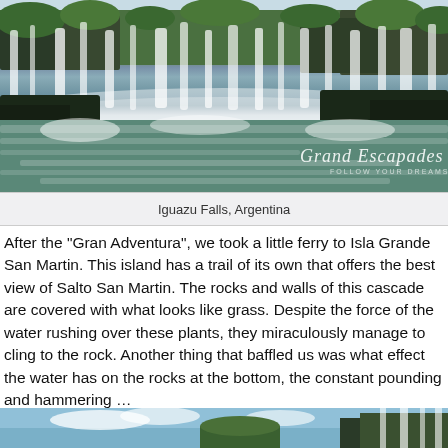[Figure (photo): Iguazu Falls, Argentina — large waterfall with mist, green vegetation on cliffs, rushing green-blue water in foreground, Grand Escapades logo overlay]
Iguazu Falls, Argentina
After the "Gran Adventura", we took a little ferry to Isla Grande San Martin. This island has a trail of its own that offers the best view of Salto San Martin. The rocks and walls of this cascade are covered with what looks like grass. Despite the force of the water rushing over these plants, they miraculously manage to cling to the rock. Another thing that baffled us was what effect the water has on the rocks at the bottom, the constant pounding and hammering …
[Figure (photo): Second photo of Iguazu Falls area, partially visible at bottom of page]